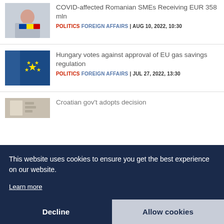[Figure (photo): Woman holding Romanian flag face mask]
COVID-affected Romanian SMEs Receiving EUR 358 mln
POLITICS FOREIGN AFFAIRS | AUG 10, 2022, 10:30
[Figure (photo): EU flag]
Hungary votes against approval of EU gas savings regulation
POLITICS FOREIGN AFFAIRS | JUL 27, 2022, 13:30
[Figure (photo): Croatian gov't article image]
Croatian gov't adopts decision
This website uses cookies to ensure you get the best experience on our website.
Learn more
Decline
Allow cookies